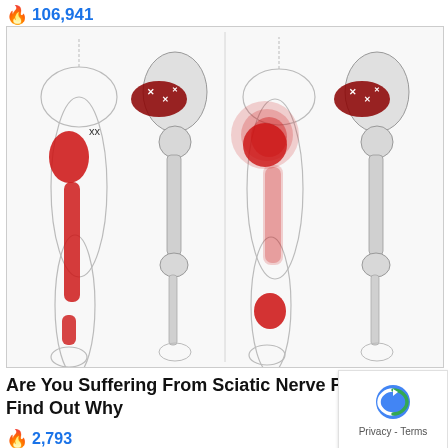106,941
[Figure (illustration): Medical illustration showing four views of human legs and hips with red highlighted areas indicating sciatic nerve pain patterns. Two views from front showing pain radiating down the leg, and two cross-sectional anatomy views showing the piriformis muscle and sciatic nerve.]
Are You Suffering From Sciatic Nerve Pain? Find Out Why
2,793